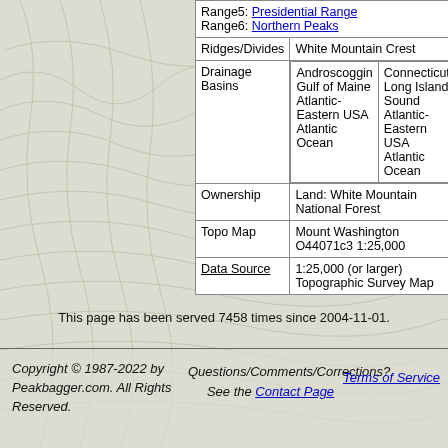| Field | Value |
| --- | --- |
|  | Range5: Presidential Range
Range6: Northern Peaks |
| Ridges/Divides | White Mountain Crest |
| Drainage Basins | Androscoggin / Gulf of Maine / Atlantic-Eastern USA / Atlantic Ocean | Connecticut / Long Island Sound / Atlantic-Eastern USA / Atlantic Ocean |
| Ownership | Land: White Mountain National Forest |
| Topo Map | Mount Washington O44071c3 1:25,000 |
| Data Source | 1:25,000 (or larger) Topographic Survey Map |
This page has been served 7458 times since 2004-11-01.
Copyright © 1987-2022 by Peakbagger.com. All Rights Reserved.
Questions/Comments/Corrections? See the Contact Page
Terms of Service